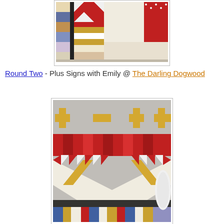[Figure (photo): A quilt in progress showing patchwork blocks with red, blue, gold, cream, and floral fabrics arranged in a bear paw or star pattern, laid on a gray surface.]
Round Two - Plus Signs with Emily @ The Darling Dogwood
[Figure (photo): A quilt in progress showing plus/cross shapes in gold fabric at the top, a red and cream patchwork section with star/sawtooth pattern in the middle, and a striped section with blue, red, cream, and gold fabrics at the bottom, laid on a table.]